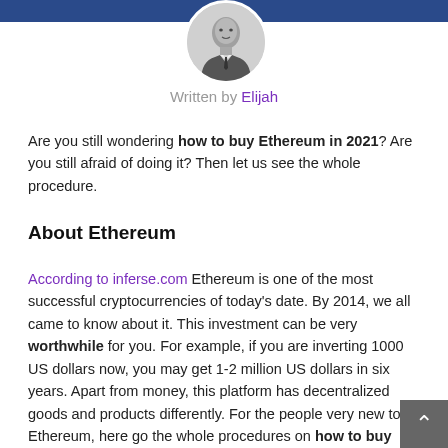[Figure (photo): Circular avatar/profile photo of a man in a suit and tie, in black and white, positioned at the top center of the page over a blue banner.]
Written by Elijah
Are you still wondering how to buy Ethereum in 2021? Are you still afraid of doing it? Then let us see the whole procedure.
About Ethereum
According to inferse.com Ethereum is one of the most successful cryptocurrencies of today's date. By 2014, we all came to know about it. This investment can be very worthwhile for you. For example, if you are inverting 1000 US dollars now, you may get 1-2 million US dollars in six years. Apart from money, this platform has decentralized goods and products differently. For the people very new to Ethereum, here go the whole procedures on how to buy ETH–